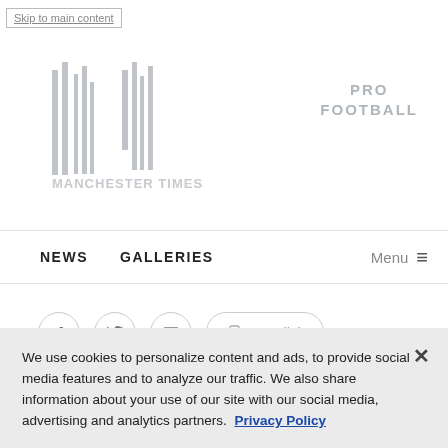Skip to main content
[Figure (logo): Manchester Times newspaper logo, vertical bars with stylized text, gray]
PRO
FOOTBALL
NEWS   GALLERIES   Menu ≡
[Figure (infographic): Social share buttons row: Facebook icon, Twitter icon, Email/envelope icon, and Copy link button]
We use cookies to personalize content and ads, to provide social media features and to analyze our traffic. We also share information about your use of our site with our social media, advertising and analytics partners.  Privacy Policy